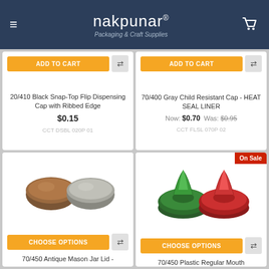nakpunar® | Packaging & Craft Supplies
[Figure (screenshot): ADD TO CART button with compare icon for 20/410 Black Snap-Top Flip Dispensing Cap product]
20/410 Black Snap-Top Flip Dispensing Cap with Ribbed Edge
$0.15
CCT DSBL 020P 01
[Figure (screenshot): ADD TO CART button with compare icon for 70/400 Gray Child Resistant Cap product]
70/400 Gray Child Resistant Cap - HEAT SEAL LINER
Now: $0.70  Was: $0.95
CCT FLSL 070P 02
[Figure (photo): Two flat round jar lids: one dark brown/bronze and one gray, side by side on white background]
[Figure (photo): Two snap-top dispensing caps: one dark green and one red, both open showing flip-top mechanism]
CHOOSE OPTIONS
70/450 Antique Mason Jar Lid -
CHOOSE OPTIONS
70/450 Plastic Regular Mouth